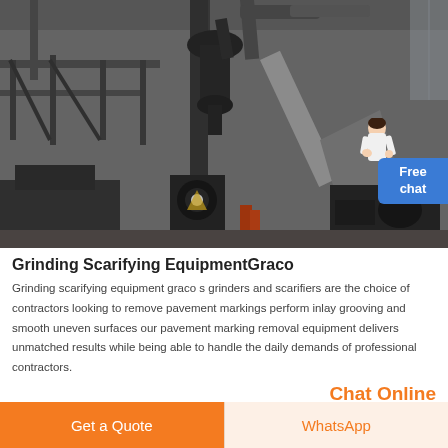[Figure (photo): Industrial grinding and scarifying equipment in a large factory/warehouse setting. Heavy machinery including mills, conveyors, cyclone separators and other processing equipment on a concrete floor with steel framework and natural lighting from windows.]
Grinding Scarifying EquipmentGraco
Grinding scarifying equipment graco s grinders and scarifiers are the choice of contractors looking to remove pavement markings perform inlay grooving and smooth uneven surfaces our pavement marking removal equipment delivers unmatched results while being able to handle the daily demands of professional contractors.
Chat Online
Get a Quote
WhatsApp